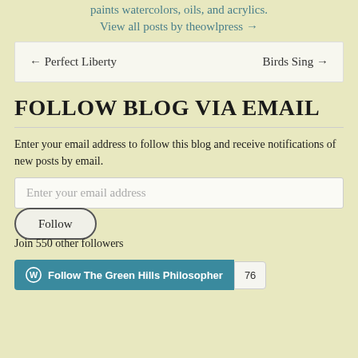View all posts by theowlpress →
← Perfect Liberty    Birds Sing →
FOLLOW BLOG VIA EMAIL
Enter your email address to follow this blog and receive notifications of new posts by email.
Enter your email address
Follow
Join 550 other followers
Follow The Green Hills Philosopher  76